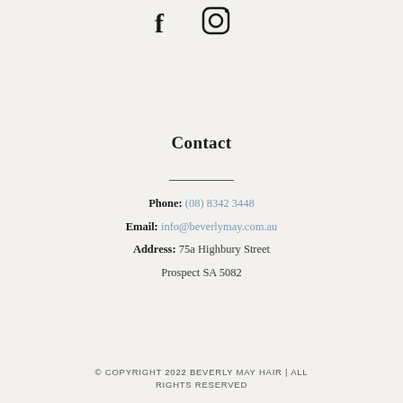[Figure (other): Social media icons: Facebook (f) and Instagram (camera icon)]
Contact
Phone: (08) 8342 3448
Email: info@beverlymay.com.au
Address: 75a Highbury Street Prospect SA 5082
© COPYRIGHT 2022 BEVERLY MAY HAIR | ALL RIGHTS RESERVED